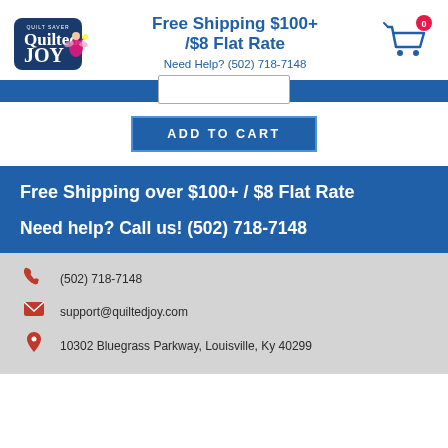[Figure (logo): Quilted Joy quilt saver logo with pink fairy figure]
Free Shipping $100+ /$8 Flat Rate
Need Help? (502) 718-7148
[Figure (other): Shopping cart icon with 0 badge]
[Figure (other): Navigation bar with search/dropdown box]
ADD TO CART
Free Shipping over $100+ / $8 Flat Rate
Need help? Call us! (502) 718-7148
(502) 718-7148
support@quiltedjoy.com
10302 Bluegrass Parkway, Louisville, Ky 40299